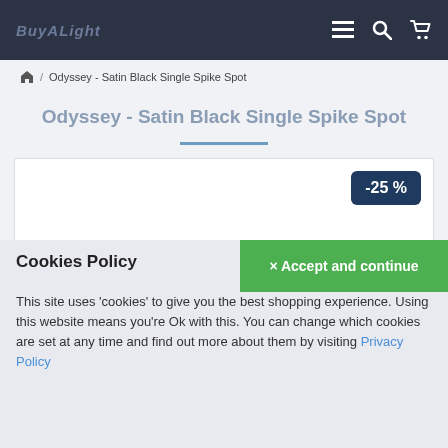BuyALight [navigation icons: menu, search, cart]
Home / Odyssey - Satin Black Single Spike Spot
Odyssey - Satin Black Single Spike Spot
[Figure (other): Product image area with -25% discount badge in dark navy color]
Cookies Policy
× Accept and continue
This site uses 'cookies' to give you the best shopping experience. Using this website means you're Ok with this. You can change which cookies are set at any time and find out more about them by visiting Privacy Policy